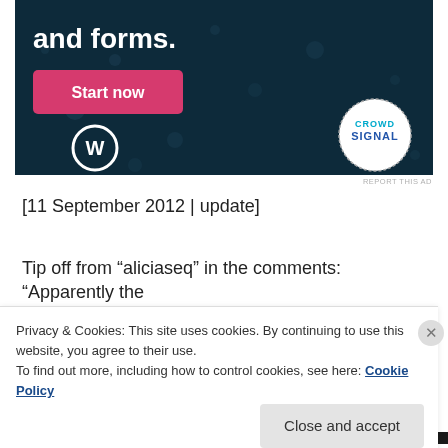[Figure (screenshot): Advertisement banner with dark navy background showing bold white text 'and forms.', a pink 'Start now' button, WordPress logo, and Crowdsignal circular logo]
[11 September 2012 | update]
Tip off from “aliciaseq” in the comments: “Apparently the Fan Pack only contains 1 ticket not 2 :(( So to have 2
Privacy & Cookies: This site uses cookies. By continuing to use this website, you agree to their use.
To find out more, including how to control cookies, see here: Cookie Policy
Close and accept